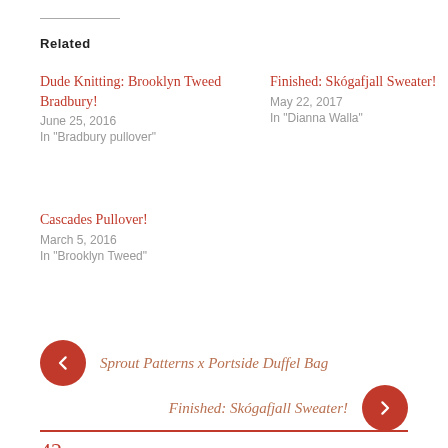Related
Dude Knitting: Brooklyn Tweed Bradbury!
June 25, 2016
In "Bradbury pullover"
Finished: Skógafjall Sweater!
May 22, 2017
In "Dianna Walla"
Cascades Pullover!
March 5, 2016
In "Brooklyn Tweed"
« Sprout Patterns x Portside Duffel Bag
Finished: Skógafjall Sweater! »
42 responses
MARY says:
REPLY